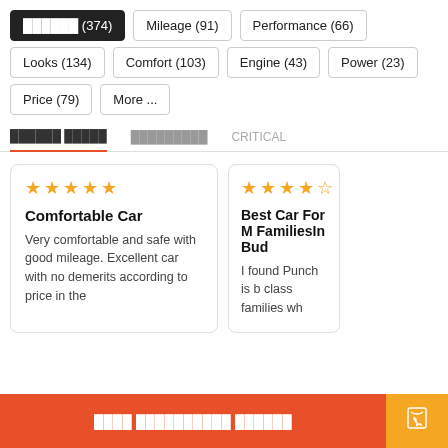██████ (374)
Mileage (91)
Performance (66)
Looks (134)
Comfort (103)
Engine (43)
Power (23)
Price (79)
More ...
██████ █████   █████████   CRITICAL
Comfortable Car
Very comfortable and safe with good mileage. Excellent car with no demerits according to price in the
Best Car For M FamiliesIn Bud
I found Punch is b class families wh